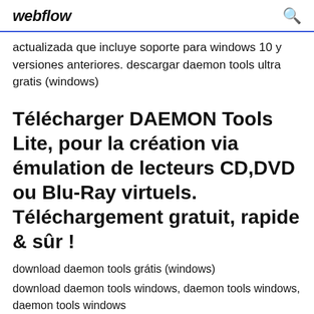webflow
actualizada que incluye soporte para windows 10 y versiones anteriores. descargar daemon tools ultra gratis (windows)
Télécharger DAEMON Tools Lite, pour la création via émulation de lecteurs CD,DVD ou Blu-Ray virtuels. Téléchargement gratuit, rapide & sûr !
download daemon tools grátis (windows)
download daemon tools windows, daemon tools windows, daemon tools windows